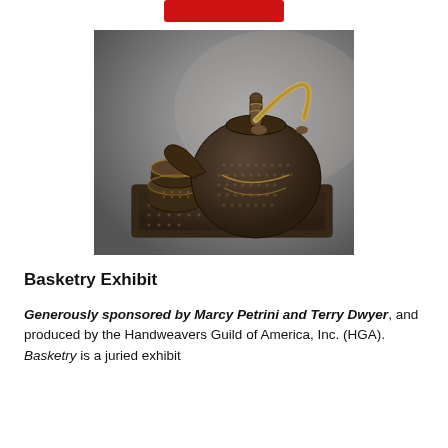[Figure (photo): A woven basketry tea set including a large teapot with an arched handle, two small cups, and a rectangular tray, all made from dark woven fiber with golden accents, displayed on a gray gradient background.]
Basketry Exhibit
Generously sponsored by Marcy Petrini and Terry Dwyer, and produced by the Handweavers Guild of America, Inc. (HGA). Basketry is a juried exhibit